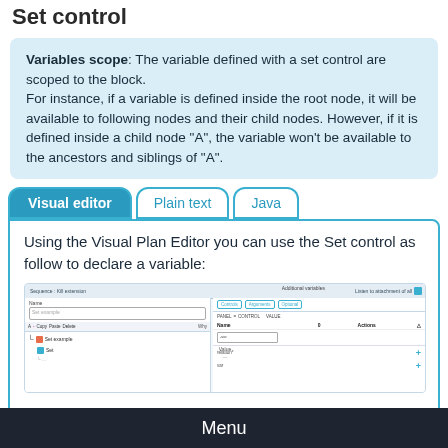Set control
Variables scope: The variable defined with a set control are scoped to the block.
For instance, if a variable is defined inside the root node, it will be available to following nodes and their child nodes. However, if it is defined inside a child node “A”, the variable won’t be available to the ancestors and siblings of “A”.
Using the Visual Plan Editor you can use the Set control as follow to declare a variable:
[Figure (screenshot): Screenshot of a visual plan editor interface showing a Set control configuration with fields for Name and Value, a tree view on the left with hierarchy nodes, and on the right an 'Additional variables' panel with tabs for Controls, Arguments, and Optional, showing form fields for Name and Actions.]
Menu